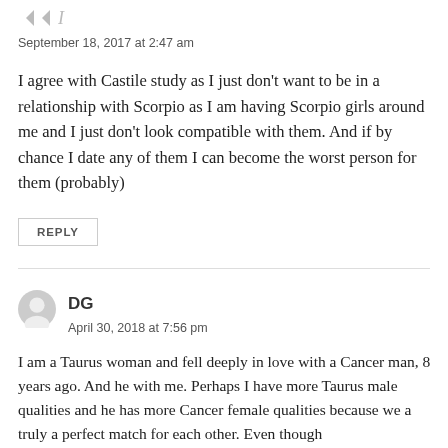[Figure (illustration): Two small gray arrow/chevron icons and the letter 'I' representing a user avatar or upvote/downvote buttons]
September 18, 2017 at 2:47 am
I agree with Castile study as I just don't want to be in a relationship with Scorpio as I am having Scorpio girls around me and I just don't look compatible with them. And if by chance I date any of them I can become the worst person for them (probably)
REPLY
[Figure (illustration): Gray circular user avatar icon for commenter DG]
DG
April 30, 2018 at 7:56 pm
I am a Taurus woman and fell deeply in love with a Cancer man, 8 years ago. And he with me. Perhaps I have more Taurus male qualities and he has more Cancer female qualities because we a truly a perfect match for each other. Even though